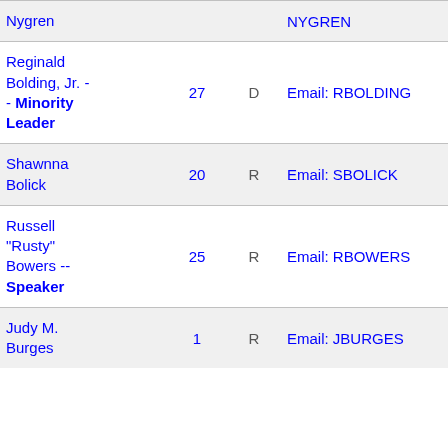| Name | District | Party | Email | Room |
| --- | --- | --- | --- | --- |
| Nygren |  |  | NYGREN |  |
| Reginald Bolding, Jr. -- Minority Leader | 27 | D | Email: RBOLDING | Room 320 |
| Shawnna Bolick | 20 | R | Email: SBOLICK | Room 205 |
| Russell "Rusty" Bowers -- Speaker | 25 | R | Email: RBOWERS | Room 223 |
| Judy M. Burges | 1 | R | Email: JBURGES | Room 130 |